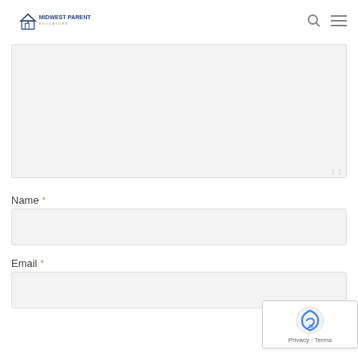Midwest Parent Educators
[Figure (other): Large empty textarea / comment input box with resize handle dots at bottom right]
Name *
[Figure (other): Name text input field, empty, light gray background]
Email *
[Figure (other): Email text input field, empty, light gray background]
[Figure (other): reCAPTCHA badge with Privacy and Terms links]